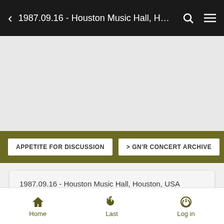< 1987.09.16 - Houston Music Hall, H…
APPETITE FOR DISCUSSION
> GN'R CONCERT ARCHIVE
1987.09.16 - Houston Music Hall, Houston, USA
Wed Oct 12, 2011 2:18 pm
Home   Last   Log in